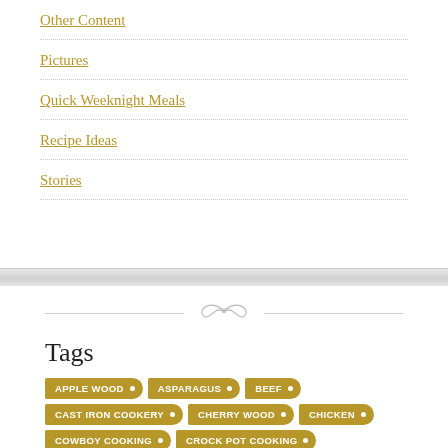Other Content
Pictures
Quick Weeknight Meals
Recipe Ideas
Stories
Tags
APPLE WOOD · ASPARAGUS · BEEF · CAST IRON COOKERY · CHERRY WOOD · CHICKEN · COWBOY COOKING · CROCK POT COOKING